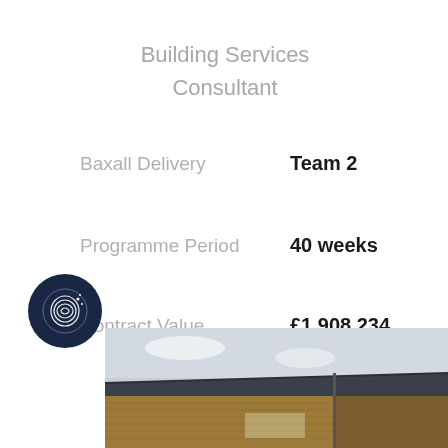Building Services Consultant
Baxall Delivery  Team 2
Programme Period  40 weeks
Contract Value  £1,908,234
[Figure (logo): Dark navy circular logo with fingerprint/network icon and small star dots]
[Figure (photo): Exterior photograph of a building with dark slate roof and wooden cladding walls]